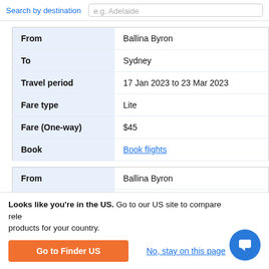Search by destination | e.g. Adelaide
| From | To | Travel period | Fare type | Fare (One-way) | Book |
| --- | --- | --- | --- | --- | --- |
| From | Ballina Byron |
| To | Sydney |
| Travel period | 17 Jan 2023 to 23 Mar 2023 |
| Fare type | Lite |
| Fare (One-way) | $45 |
| Book | Book flights |
| From | To |
| --- | --- |
| From | Ballina Byron |
| To | Sydney |
Looks like you're in the US. Go to our US site to compare rele... products for your country.
Go to Finder US
No, stay on this page